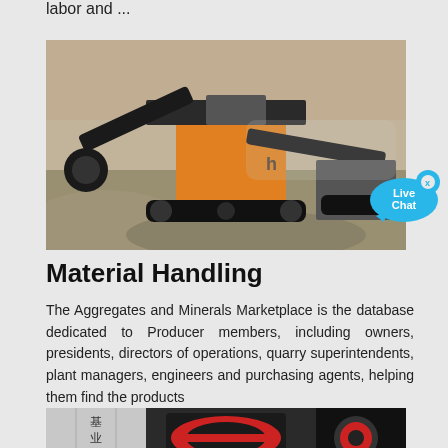labor and ...
[Figure (photo): A large mobile crushing/screening machine (yellow and black) operating in a quarry or aggregate site, with gravel/rock piles and rocky cliff face in the background.]
[Figure (illustration): Live Chat speech bubble icon with 'Live Chat' text and an X close button]
Material Handling
The Aggregates and Minerals Marketplace is the database dedicated to Producer members, including owners, presidents, directors of operations, quarry superintendents, plant managers, engineers and purchasing agents, helping them find the products
[Figure (photo): Bottom portion of an industrial machinery image showing red-banded mechanical components and dark industrial equipment in an indoor setting.]